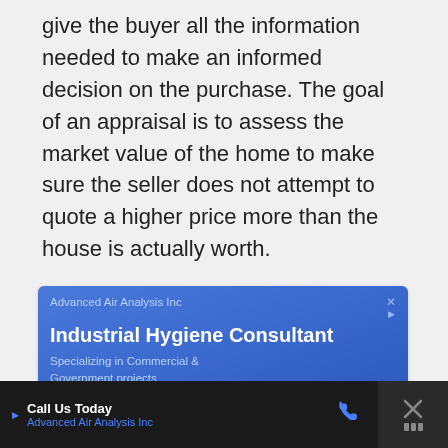give the buyer all the information needed to make an informed decision on the purchase. The goal of an appraisal is to assess the market value of the home to make sure the seller does not attempt to quote a higher price more than the house is actually worth.
[Figure (screenshot): Advertisement for Advanced Air Analysis Inc - Industrial Hygiene Consultant, Specializing in Commercial & Government projects, with a Google Maps location shown below]
[Figure (screenshot): Bottom bar advertisement: Call Us Today - Advanced Air Analysis Inc, with phone icon and close button]